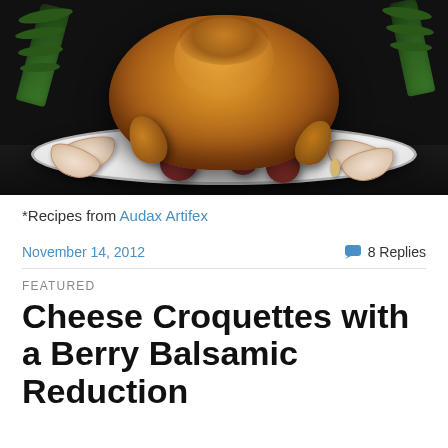[Figure (photo): Roasted whole chicken on a white plate with red potatoes, apple slices, and rosemary sprigs garnish, on a dark background]
*Recipes from Audax Artifex
November 14, 2012
8 Replies
FEATURED
Cheese Croquettes with a Berry Balsamic Reduction